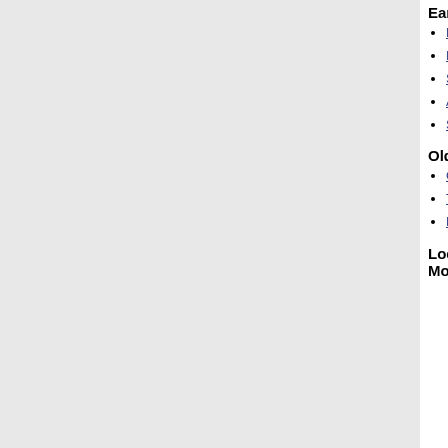Early Swiss History
Prehistory, Lake-dwellings
History of the Helvetians
Switzerland during the Age of Romans
Aventicum, Switzerland's Old Capital
Switzerland during the Middle Ages
The Formation of Modern Switzerland
Swiss Revolution and Helvetic Republic (1789 - 1815)
The Federal Constitution
Industrialisation
Switzerland's Political System: Direct Democracy
Women's Right to Vote
Old Swiss History
Old Swiss Confederacy (1291 - 1515)
The Legend of William Tell Swiss National Hero
Reformation: Zwingli, Calvin, Farel
Recent Swiss History
Second World War (1939 - 1945) seen from Swiss perspective
Spiritual Defence (1933 - 1945)
Economic Dependence and Rationing
Neutrality during World War 2
Jewish Refugees (1933 - 1945)
Looted Jewish...
Local History and Monuments